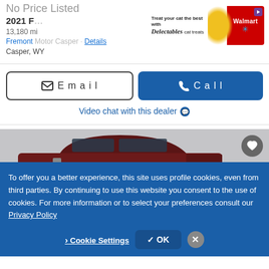No Price Listed
2021 F...
13,180 mi
Fremont Motor Casper...
Casper, WY
[Figure (screenshot): Walmart/Delectables cat treats advertisement banner]
Email
Call
Video chat with this dealer 💬
[Figure (photo): Dark red/maroon pickup truck shown from side/rear angle on grey background]
To offer you a better experience, this site uses profile cookies, even from third parties. By continuing to use this website you consent to the use of cookies. For more information or to select your preferences consult our Privacy Policy
Cookie Settings
✓ OK